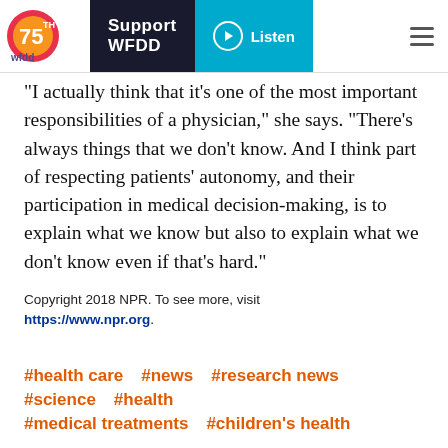WFDD 75th | Support WFDD | Listen
"I actually think that it's one of the most important responsibilities of a physician," she says. "There's always things that we don't know. And I think part of respecting patients' autonomy, and their participation in medical decision-making, is to explain what we know but also to explain what we don't know even if that's hard."
Copyright 2018 NPR. To see more, visit https://www.npr.org.
#health care
#news
#research news
#science
#health
#medical treatments
#children's health